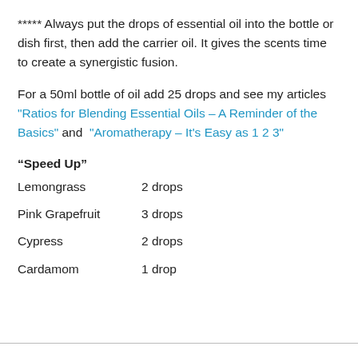***** Always put the drops of essential oil into the bottle or dish first, then add the carrier oil. It gives the scents time to create a synergistic fusion.
For a 50ml bottle of oil add 25 drops and see my articles "Ratios for Blending Essential Oils – A Reminder of the Basics" and "Aromatherapy – It's Easy as 1 2 3"
“Speed Up”
Lemongrass    2 drops
Pink Grapefruit    3 drops
Cypress    2 drops
Cardamom    1 drop